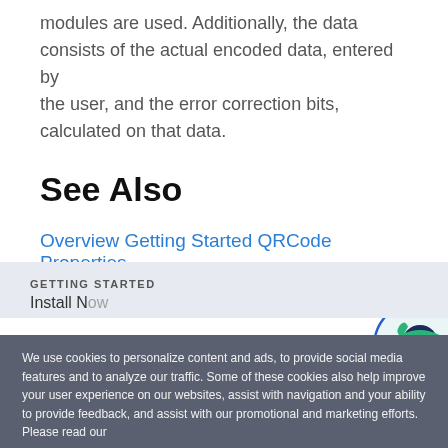modules are used. Additionally, the data consists of the actual encoded data, entered by the user, and the error correction bits, calculated on that data.
See Also
Overview Getting Started QRCode Properties
[Figure (illustration): Ninja mascot illustration inside a circular border with light blue/teal background, partially cropped at right edge of page]
GETTING STARTED
Install N...
We use cookies to personalize content and ads, to provide social media features and to analyze our traffic. Some of these cookies also help improve your user experience on our websites, assist with navigation and your ability to provide feedback, and assist with our promotional and marketing efforts. Please read our